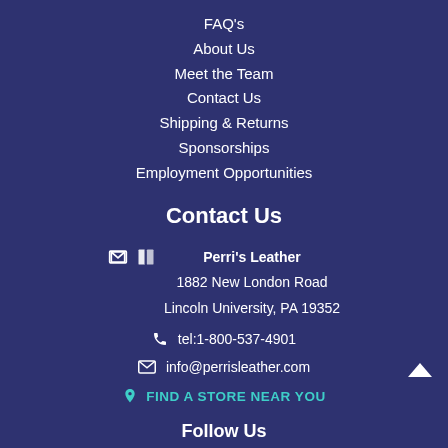FAQ's
About Us
Meet the Team
Contact Us
Shipping & Returns
Sponsorships
Employment Opportunities
Contact Us
Perri's Leather
1882 New London Road
Lincoln University, PA 19352
tel:1-800-537-4901
info@perrisleather.com
FIND A STORE NEAR YOU
Follow Us